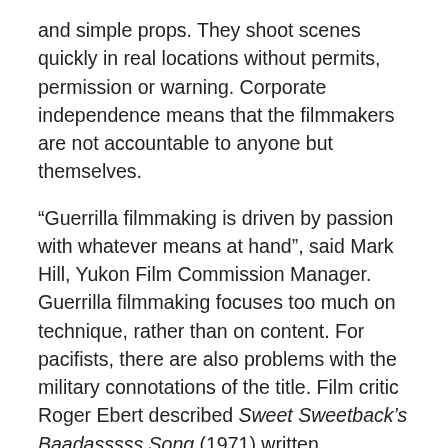and simple props. They shoot scenes quickly in real locations without permits, permission or warning. Corporate independence means that the filmmakers are not accountable to anyone but themselves.
“Guerrilla filmmaking is driven by passion with whatever means at hand”, said Mark Hill, Yukon Film Commission Manager. Guerrilla filmmaking focuses too much on technique, rather than on content. For pacifists, there are also problems with the military connotations of the title. Film critic Roger Ebert described Sweet Sweetback’s Baadasssss Song (1971) written, produced, scored, directed by, and starring Melvin Van Peebles (1932-), as “a textbook on guerrilla filmmaking.” If you cannot find this film, an equivalent example is Robert Rodriguez’ (1968-) El Mariachi (1992). It cost about $7,000 to make, with money partially raised by volunteering in medical research studies. While originally intended for